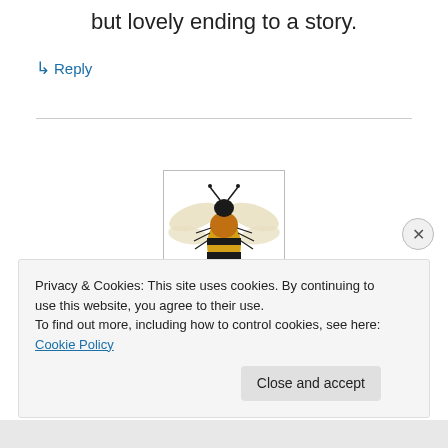but lovely ending to a story.
↳ Reply
[Figure (illustration): Illustration of a bumblebee (top-down view) with yellow and black body, wings spread, inside a thin rectangular border.]
Privacy & Cookies: This site uses cookies. By continuing to use this website, you agree to their use.
To find out more, including how to control cookies, see here: Cookie Policy
Close and accept